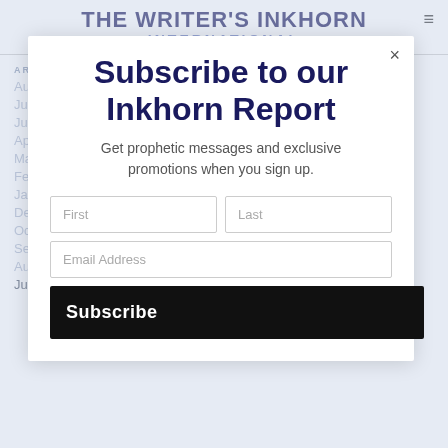THE WRITER'S INKHORN INTERNATIONAL
ARCHIVES
August 2022
July 2022
June 2022
April 2022
March 2022
February 2022
January 2022
December 2021
October 2021
September 2021
August 2021
July 2021
[Figure (screenshot): Modal popup with headline 'Subscribe to our Inkhorn Report', description 'Get prophetic messages and exclusive promotions when you sign up.', two text fields (First, Last), one email field (Email Address), and a Subscribe button on black background.]